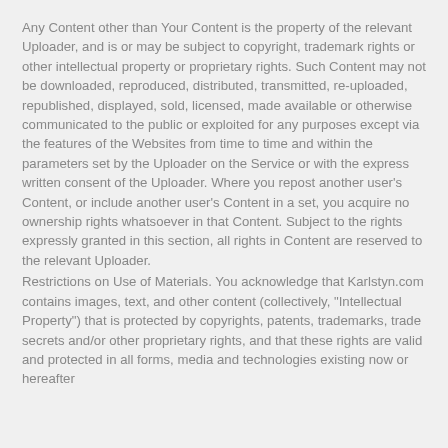Any Content other than Your Content is the property of the relevant Uploader, and is or may be subject to copyright, trademark rights or other intellectual property or proprietary rights. Such Content may not be downloaded, reproduced, distributed, transmitted, re-uploaded, republished, displayed, sold, licensed, made available or otherwise communicated to the public or exploited for any purposes except via the features of the Websites from time to time and within the parameters set by the Uploader on the Service or with the express written consent of the Uploader. Where you repost another user's Content, or include another user's Content in a set, you acquire no ownership rights whatsoever in that Content. Subject to the rights expressly granted in this section, all rights in Content are reserved to the relevant Uploader.
Restrictions on Use of Materials. You acknowledge that Karlstyn.com contains images, text, and other content (collectively, "Intellectual Property") that is protected by copyrights, patents, trademarks, trade secrets and/or other proprietary rights, and that these rights are valid and protected in all forms, media and technologies existing now or hereafter